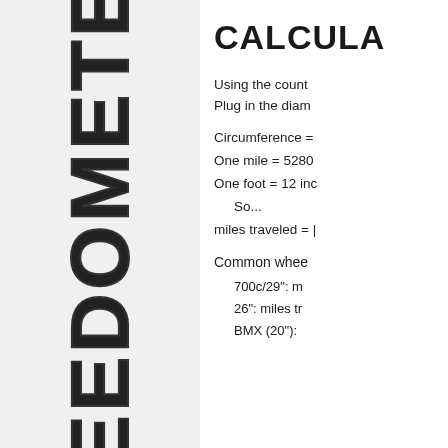EEDOME
CALCULA
Using the count... Plug in the diam...
Common whee...
700c/29": m...
26": miles tr...
BMX (20"):...